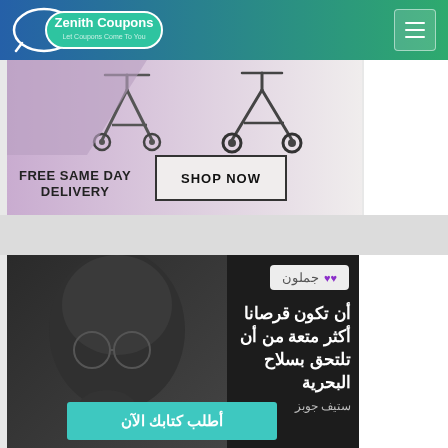Zenith Coupons — Let Coupons Come To You
[Figure (screenshot): Advertisement banner showing strollers with text FREE SAME DAY DELIVERY and SHOP NOW button]
[Figure (screenshot): Jamloon advertisement with Steve Jobs photo and Arabic quote: أن تكون قرصانا أكثر متعة من أن تلتحق بسلاح البحرية - ستيف جوبز, with تحميل كتابك الآن button]